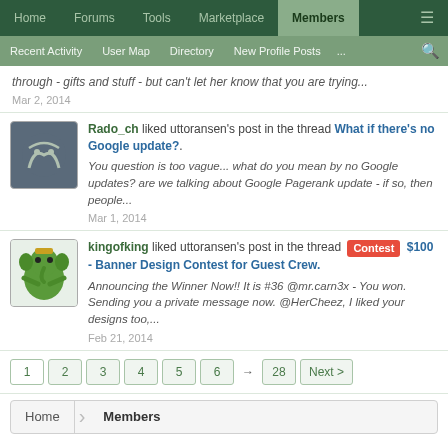Home | Forums | Tools | Marketplace | Members
Recent Activity | User Map | Directory | New Profile Posts | ...
through - gifts and stuff - but can't let her know that you are trying...
Mar 2, 2014
Rado_ch liked uttoransen's post in the thread What if there's no Google update?.
You question is too vague... what do you mean by no Google updates? are we talking about Google Pagerank update - if so, then people...
Mar 1, 2014
kingofking liked uttoransen's post in the thread [Contest] $100 - Banner Design Contest for Guest Crew.
Announcing the Winner Now!! It is #36 @mr.carn3x - You won. Sending you a private message now. @HerCheez, I liked your designs too,...
Feb 21, 2014
1 2 3 4 5 6 → 28 Next >
Home > Members